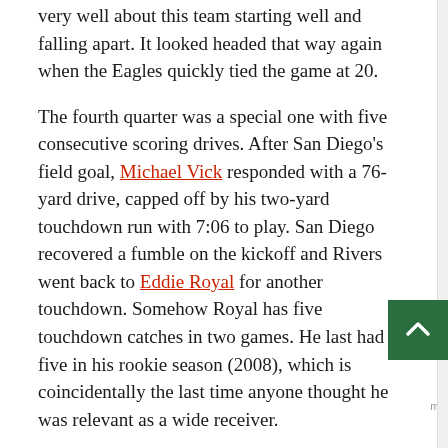very well about this team starting well and falling apart. It looked headed that way again when the Eagles quickly tied the game at 20.
The fourth quarter was a special one with five consecutive scoring drives. After San Diego's field goal, Michael Vick responded with a 76-yard drive, capped off by his two-yard touchdown run with 7:06 to play. San Diego recovered a fumble on the kickoff and Rivers went back to Eddie Royal for another touchdown. Somehow Royal has five touchdown catches in two games. He last had five in his rookie season (2008), which is coincidentally the last time anyone thought he was relevant as a wide receiver.
The Eagles answered fast, but maybe too fast. Vick was injured on the drive and replaced by Nick Foles for a crucial play in the red zone. Kelly should have